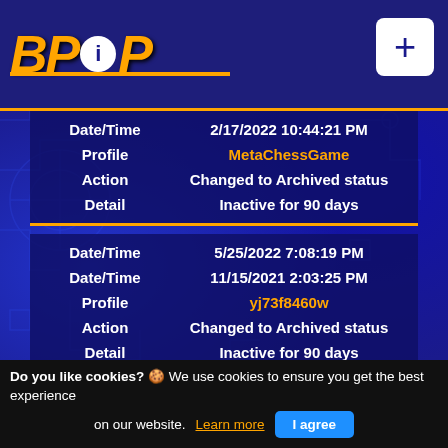BPiP
| Label | Value |
| --- | --- |
| Date/Time | 2/17/2022 10:44:21 PM |
| Profile | MetaChessGame |
| Action | Changed to Archived status |
| Detail | Inactive for 90 days |
| Label | Value |
| --- | --- |
| Date/Time | 5/25/2022 7:08:19 PM |
| Date/Time | 11/15/2021 2:03:25 PM |
| Profile | yj73f8460w |
| Action | Changed to Archived status |
| Detail | Inactive for 90 days |
| Label | Value |
| --- | --- |
| Date/Time | 5/25/2022 7:08:04 PM |
| Date/Time | 12/1/2021 4:06:27 PM |
| Profile | nightcrack |
| Action | Changed to Archived status |
| Detail | Inactive for 90 days |
Do you like cookies? 🍪 We use cookies to ensure you get the best experience on our website. Learn more | I agree